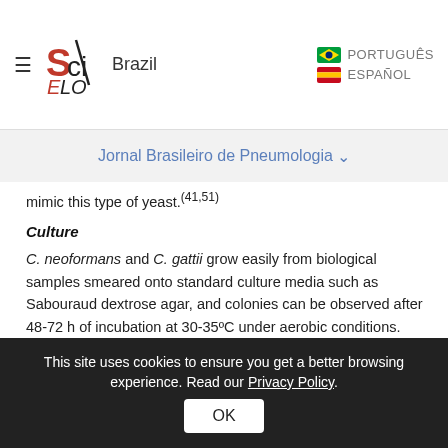SciELO Brazil | PORTUGUÊS | ESPAÑOL
Jornal Brasileiro de Pneumologia
mimic this type of yeast.(41,51)
Culture
C. neoformans and C. gattii grow easily from biological samples smeared onto standard culture media such as Sabouraud dextrose agar, and colonies can be observed after 48-72 h of incubation at 30-35ºC under aerobic conditions.
The Cryptococcus spp. isolates can be distinguished from Candida spp. through a medium
This site uses cookies to ensure you get a better browsing experience. Read our Privacy Policy. OK